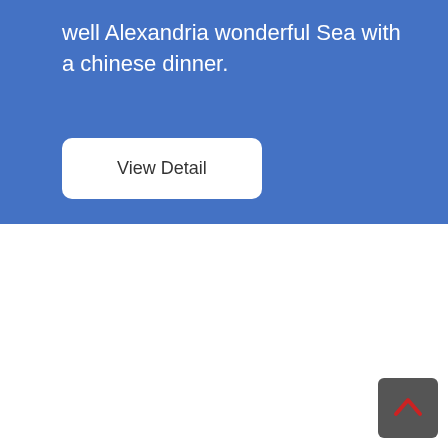well Alexandria wonderful Sea with a chinese dinner.
View Detail
[Figure (illustration): Scroll-to-top button with a red upward chevron arrow on a dark grey rounded square background]